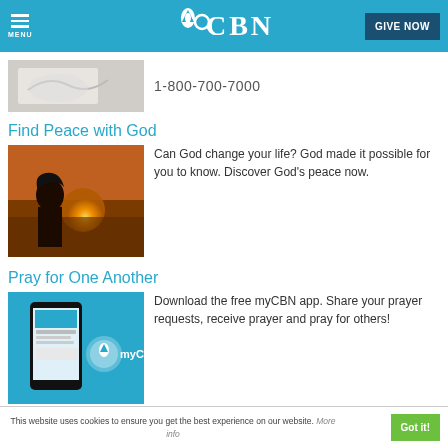CBN - GIVE NOW
[Figure (photo): Hands holding an open book (Bible), partially visible]
1-800-700-7000
Find Peace with God
[Figure (photo): Person with long hair viewed from behind, silhouetted against a sunset sky]
Can God change your life? God made it possible for you to know. Discover God's peace now.
Pray for One Another
[Figure (photo): Smartphone showing myCBN app on a blue background with the myCBN logo]
Download the free myCBN app. Share your prayer requests, receive prayer and pray for others!
This website uses cookies to ensure you get the best experience on our website. More info   Got it!